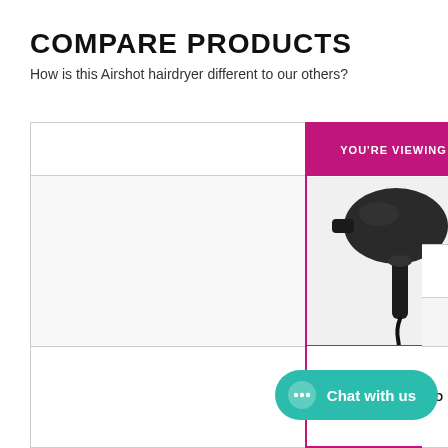COMPARE PRODUCTS
How is this Airshot hairdryer different to our others?
[Figure (screenshot): Product comparison table showing two hair dryers side by side. The left column is empty (for product labels), the center column is highlighted with a magenta border and header reading 'YOU'RE VIEWING' showing a black Airshot hair dryer, with footer text 'WARRANTY REPLACEMENT AIRSHOT'. The right column is partially visible showing a white hair dryer. A teal 'Chat with us' button overlaps the bottom right.]